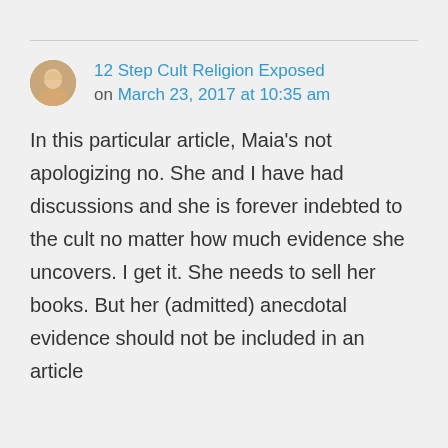12 Step Cult Religion Exposed on March 23, 2017 at 10:35 am
In this particular article, Maia's not apologizing no. She and I have had discussions and she is forever indebted to the cult no matter how much evidence she uncovers. I get it. She needs to sell her books. But her (admitted) anecdotal evidence should not be included in an article